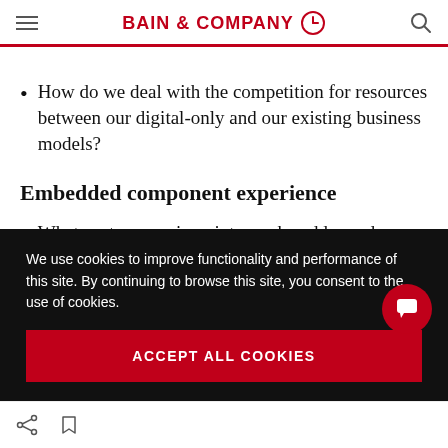BAIN & COMPANY
How do we deal with the competition for resources between our digital-only and our existing business models?
Embedded component experience
What customer pain points can be addressed
We use cookies to improve functionality and performance of this site. By continuing to browse this site, you consent to the use of cookies.
ACCEPT ALL COOKIES